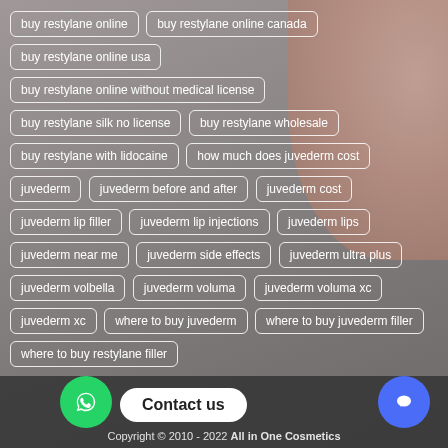buy restylane online
buy restylane online canada
buy restylane online usa
buy restylane online without medical license
buy restylane silk no license
buy restylane wholesale
buy restylane with lidocaine
how much does juvederm cost
juvederm
juvederm before and after
juvederm cost
juvederm lip filler
juvederm lip injections
juvederm lips
juvederm near me
juvederm side effects
juvederm ultra plus
juvederm volbella
juvederm voluma
juvederm voluma xc
juvederm xc
where to buy juvederm
where to buy juvederm filler
where to buy restylane filler
Copyright © 2010 - 2022 All in One Cosmetics